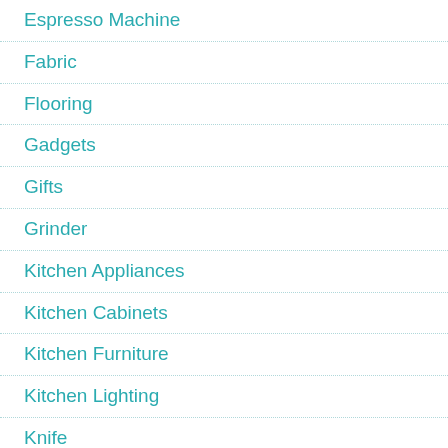Espresso Machine
Fabric
Flooring
Gadgets
Gifts
Grinder
Kitchen Appliances
Kitchen Cabinets
Kitchen Furniture
Kitchen Lighting
Knife